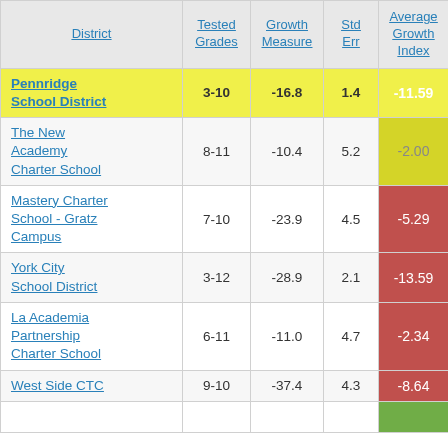| District | Tested Grades | Growth Measure | Std Err | Average Growth Index |
| --- | --- | --- | --- | --- |
| Pennridge School District | 3-10 | -16.8 | 1.4 | -11.59 |
| The New Academy Charter School | 8-11 | -10.4 | 5.2 | -2.00 |
| Mastery Charter School - Gratz Campus | 7-10 | -23.9 | 4.5 | -5.29 |
| York City School District | 3-12 | -28.9 | 2.1 | -13.59 |
| La Academia Partnership Charter School | 6-11 | -11.0 | 4.7 | -2.34 |
| West Side CTC | 9-10 | -37.4 | 4.3 | -8.64 |